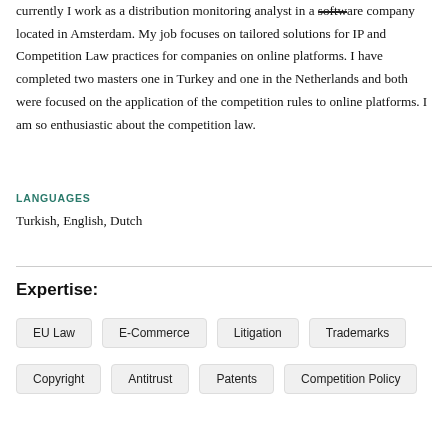currently I work as a distribution monitoring analyst in a software company located in Amsterdam. My job focuses on tailored solutions for IP and Competition Law practices for companies on online platforms. I have completed two masters one in Turkey and one in the Netherlands and both were focused on the application of the competition rules to online platforms. I am so enthusiastic about the competition law.
LANGUAGES
Turkish, English, Dutch
Expertise:
EU Law
E-Commerce
Litigation
Trademarks
Copyright
Antitrust
Patents
Competition Policy